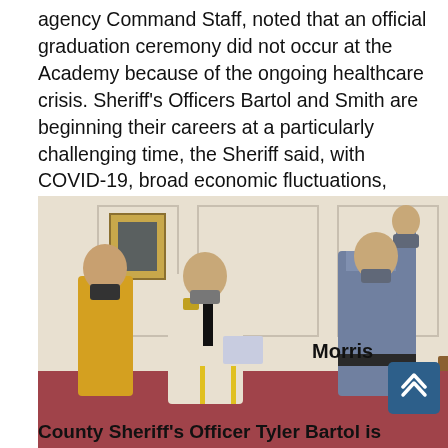agency Command Staff, noted that an official graduation ceremony did not occur at the Academy because of the ongoing healthcare crisis. Sheriff's Officers Bartol and Smith are beginning their careers at a particularly challenging time, the Sheriff said, with COVID-19, broad economic fluctuations, protests and civil unrest in parts of the country.
[Figure (photo): A swearing-in ceremony photo showing three people in a formal room. A person in a light uniform reads from a paper, a person in a grey sheriff's uniform raises their right hand, and a woman in a blue dress stands to the right. A fourth person in a yellow shirt and mask stands in the background. All wear face masks.]
Morris
County Sheriff's Officer Tyler Bartol is sworn in to